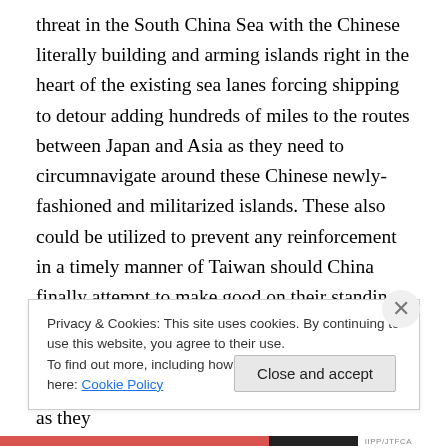threat in the South China Sea with the Chinese literally building and arming islands right in the heart of the existing sea lanes forcing shipping to detour adding hundreds of miles to the routes between Japan and Asia as they need to circumnavigate around these Chinese newly-fashioned and militarized islands. These also could be utilized to prevent any reinforcement in a timely manner of Taiwan should China finally attempt to make good on their standing threat to restore their province which they claim Taiwan actually should be. Then there is the challenge which is sure to be presented by Iran as they
Privacy & Cookies: This site uses cookies. By continuing to use this website, you agree to their use.
To find out more, including how to control cookies, see here: Cookie Policy
Close and accept